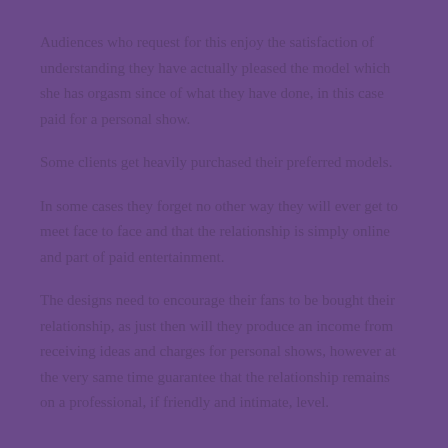Audiences who request for this enjoy the satisfaction of understanding they have actually pleased the model which she has orgasm since of what they have done, in this case paid for a personal show.
Some clients get heavily purchased their preferred models.
In some cases they forget no other way they will ever get to meet face to face and that the relationship is simply online and part of paid entertainment.
The designs need to encourage their fans to be bought their relationship, as just then will they produce an income from receiving ideas and charges for personal shows, however at the very same time guarantee that the relationship remains on a professional, if friendly and intimate, level.